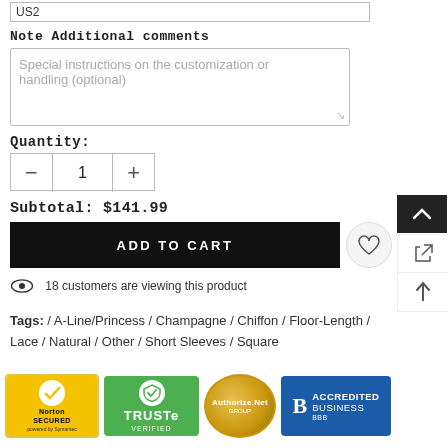US2
Note Additional comments
Special instructions on the customization or handling (optional)
Quantity: 1
Subtotal: $141.99
ADD TO CART
18 customers are viewing this product
Tags: / A-Line/Princess / Champagne / Chiffon / Floor-Length / Lace / Natural / Other / Short Sleeves / Square
[Figure (logo): Trust badges: Norton Secured powered by Symantec, TRUSTe Verified, Authorize.Net, BBB Accredited Business]